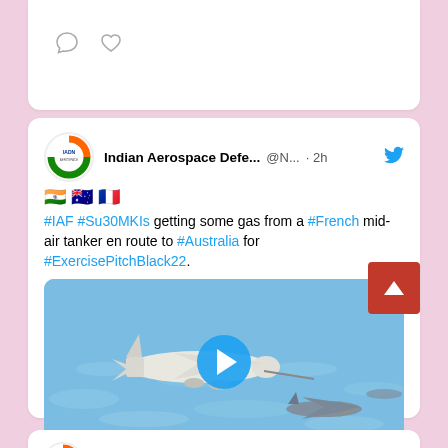[Figure (screenshot): Top portion of a Twitter/social media feed showing bottom of a tweet with comment and like icons]
Indian Aerospace Defe... @N... · 2h
🇮🇳 🇦🇺 🇫🇷
#IAF #Su30MKIs getting some gas from a #French mid-air tanker en route to #Australia for #ExercisePitchBlack22.
[Figure (photo): Video thumbnail showing military aircraft (tanker and fighter jets) flying over ocean with play button overlay]
1   8
Indian Aerospace Defe... @N... · 3h
#China's Indian Ocean base operational